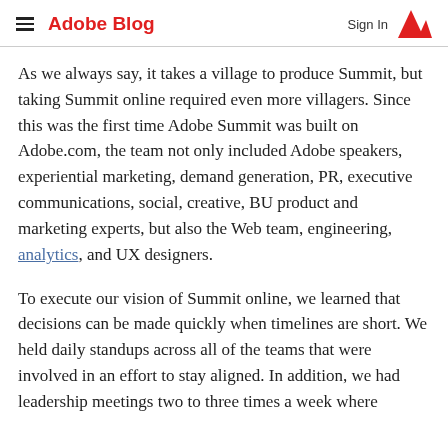Adobe Blog  Sign In
As we always say, it takes a village to produce Summit, but taking Summit online required even more villagers. Since this was the first time Adobe Summit was built on Adobe.com, the team not only included Adobe speakers, experiential marketing, demand generation, PR, executive communications, social, creative, BU product and marketing experts, but also the Web team, engineering, analytics, and UX designers.
To execute our vision of Summit online, we learned that decisions can be made quickly when timelines are short. We held daily standups across all of the teams that were involved in an effort to stay aligned. In addition, we had leadership meetings two to three times a week where